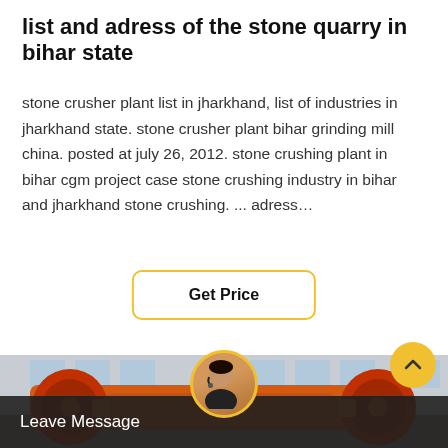list and adress of the stone quarry in bihar state
stone crusher plant list in jharkhand, list of industries in jharkhand state. stone crusher plant bihar grinding mill china. posted at july 26, 2012. stone crushing plant in bihar cgm project case stone crushing industry in bihar and jharkhand stone crushing. ... adress…
Get Price
[Figure (photo): Industrial stone crusher / jaw crusher machine with large orange wheels and heavy roller axle, photographed in a factory or industrial yard setting.]
Leave Message